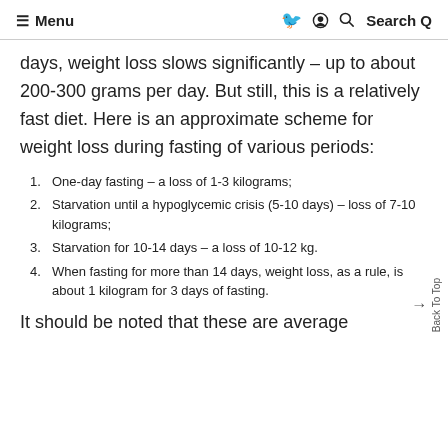≡ Menu   Search Q
days, weight loss slows significantly – up to about 200-300 grams per day. But still, this is a relatively fast diet. Here is an approximate scheme for weight loss during fasting of various periods:
1. One-day fasting – a loss of 1-3 kilograms;
2. Starvation until a hypoglycemic crisis (5-10 days) – loss of 7-10 kilograms;
3. Starvation for 10-14 days – a loss of 10-12 kg.
4. When fasting for more than 14 days, weight loss, as a rule, is about 1 kilogram for 3 days of fasting.
It should be noted that these are average